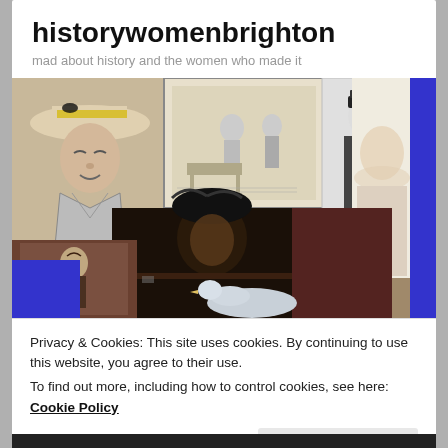historywomenbrighton
mad about history and the women who made it
[Figure (photo): Collage of historical women images: a cartoon woman with hat, Victorian engravings, a woman in naval uniform, a portrait of a Regency-era woman, a Victorian photograph of a woman, and a close-up photo of a woman with feathered hat and a bird.]
Privacy & Cookies: This site uses cookies. By continuing to use this website, you agree to their use.
To find out more, including how to control cookies, see here: Cookie Policy
Close and accept